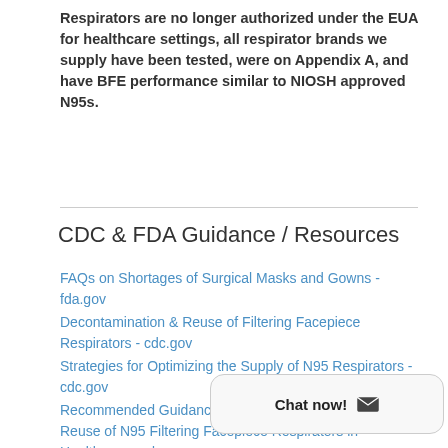Respirators are no longer authorized under the EUA for healthcare settings, all respirator brands we supply have been tested, were on Appendix A, and have BFE performance similar to NIOSH approved N95s.
CDC & FDA Guidance / Resources
FAQs on Shortages of Surgical Masks and Gowns - fda.gov
Decontamination & Reuse of Filtering Facepiece Respirators - cdc.gov
Strategies for Optimizing the Supply of N95 Respirators - cdc.gov
Recommended Guidance for Extended Use and Limited Reuse of N95 Filtering Facepiece Respirators in Healthcare - cdc.gov
[Figure (other): Chat now! button widget with envelope icon]